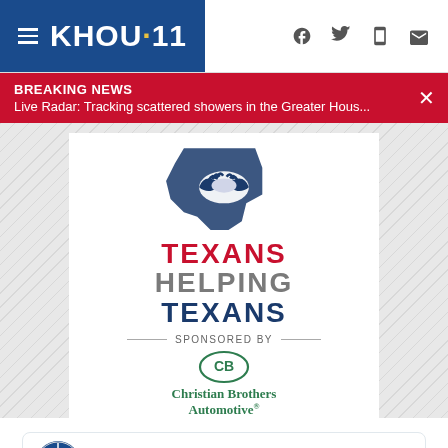KHOU 11
BREAKING NEWS
Live Radar: Tracking scattered showers in the Greater Hous...
[Figure (illustration): Texans Helping Texans promotional graphic with Texas state shape and handshake, sponsored by Christian Brothers Automotive]
NWS Fort Worth @NWSFortWorth · Follow